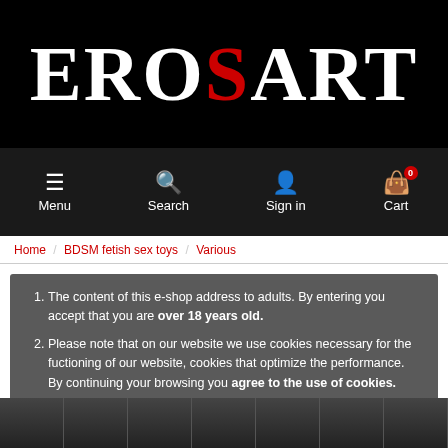[Figure (logo): EroSart logo with white bold serif text on black background, the S letter in red]
[Figure (screenshot): Navigation bar with Menu, Search, Sign in, and Cart (badge 0) icons on dark background]
Home / BDSM fetish sex toys / Various
The content of this e-shop address to adults. By entering you accept that you are over 18 years old.
Please note that on our website we use cookies necessary for the fuctioning of our website, cookies that optimize the performance. By continuing your browsing you agree to the use of cookies.
Accept